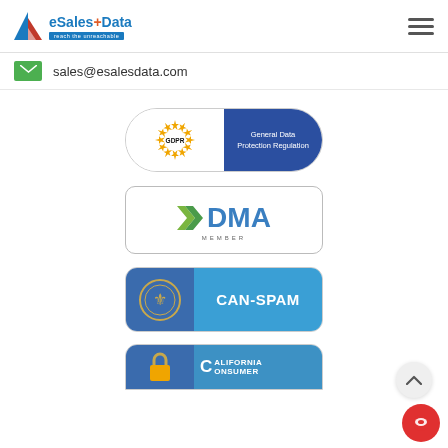[Figure (logo): eSalesData logo with triangle icon and tagline 'reach the unreachable']
sales@esalesdata.com
[Figure (illustration): GDPR - General Data Protection Regulation compliance badge]
[Figure (logo): DMA Member badge/logo]
[Figure (illustration): CAN-SPAM compliance badge with US government seal]
[Figure (illustration): California Consumer (CCPA) compliance badge, partially visible]